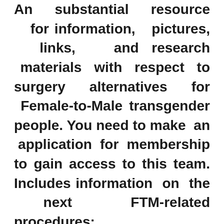An substantial resource for information, pictures, links, and research materials with respect to surgery alternatives for Female-to-Male transgender people. You need to make an application for membership to gain access to this team. Includes information on the next FTM-related procedures: metaoidoioplasty (metoidioplasty), phalloplasty, Centurion, hysterectomy, vaginectomy, salpingo-oophectomy, https://www.datingranking.net/gleeden-review